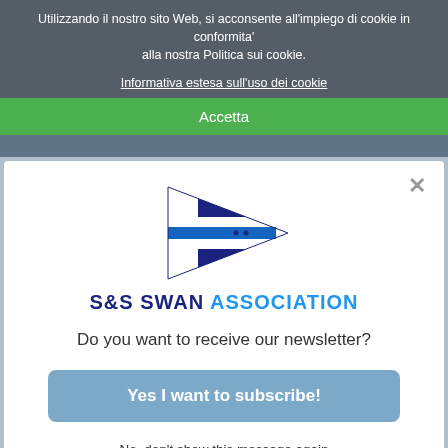Utilizzando il nostro sito Web, si acconsente all'impiego di cookie in conformita' alla nostra Politica sui cookie.
Informativa estesa sull'uso dei cookie
Accetta
[Figure (logo): S&S Swan Association pennant flag logo — triangular flag in dark navy blue with a white cross and blue horizontal stripe through the center.]
S&S SWAN ASSOCIATION
Do you want to receive our newsletter?
Yes I want to subscribe!
No, don't show this message again